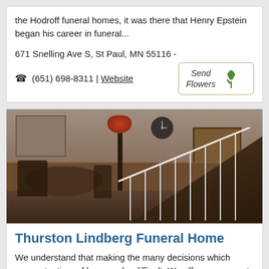the Hodroff funeral homes, it was there that Henry Epstein began his career in funeral...
671 Snelling Ave S, St Paul, MN 55116 -
☎ (651) 698-8311 | Website
[Figure (photo): Interior of Thurston Lindberg Funeral Home showing a round table with chairs on the left, a floor lamp with red shade in the center, and a staircase with white railing on the right. Wood paneling on lower walls.]
Thurston Lindberg Funeral Home
We understand that making the many decisions which come at a time of loss can be difficult. We offer our support by providing you with two options as you